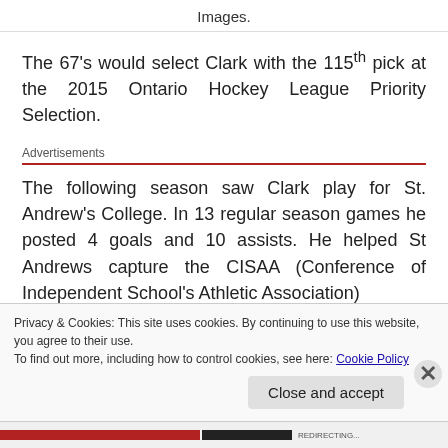Images.
The 67's would select Clark with the 115th pick at the 2015 Ontario Hockey League Priority Selection.
Advertisements
The following season saw Clark play for St. Andrew's College. In 13 regular season games he posted 4 goals and 10 assists. He helped St Andrews capture the CISAA (Conference of Independent School's Athletic Association)
Privacy & Cookies: This site uses cookies. By continuing to use this website, you agree to their use. To find out more, including how to control cookies, see here: Cookie Policy
Close and accept